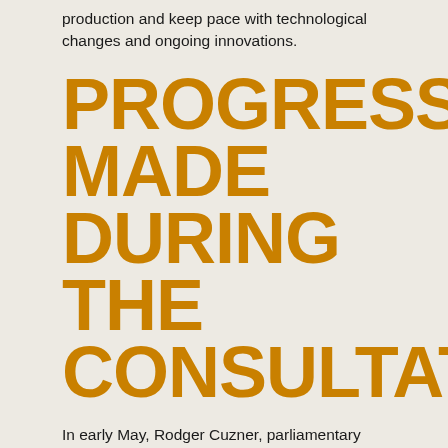production and keep pace with technological changes and ongoing innovations.
PROGRESS MADE DURING THE CONSULTATIONS
In early May, Rodger Cuzner, parliamentary secretary for labour, chaired a day-long roundtable on labour needs in agriculture and agri-food. It was announced that the government will no longer require separate Labour Market…